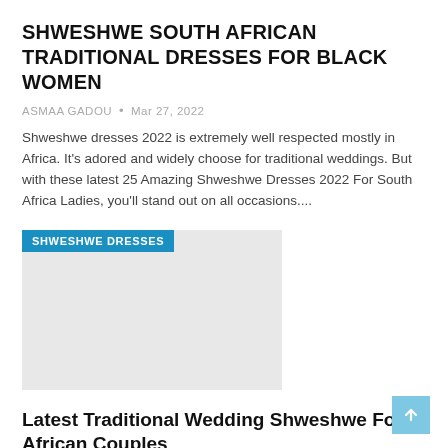SHWESHWE SOUTH AFRICAN TRADITIONAL DRESSES FOR BLACK WOMEN
ASMAA GADOU • Mar 27, 2022
Shweshwe dresses 2022 is extremely well respected mostly in Africa. It's adored and widely choose for traditional weddings. But with these latest 25 Amazing Shweshwe Dresses 2022 For South Africa Ladies, you'll stand out on all occasions....
[Figure (photo): Image placeholder with 'SHWESHWE DRESSES' label overlay on light grey background]
Latest Traditional Wedding Shweshwe For African Couples
ASMAA GADOU • Mar 27, 2022
We all recognize African women's trend through the range and the